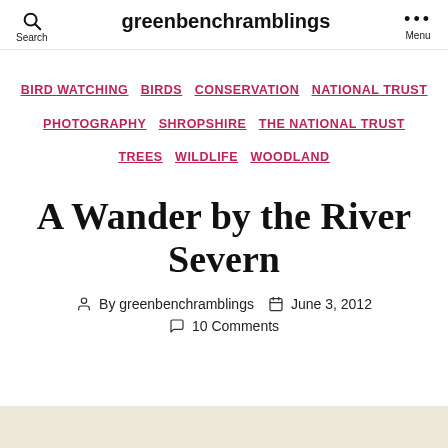greenbenchramblings  Search  Menu
BIRD WATCHING  BIRDS  CONSERVATION  NATIONAL TRUST  PHOTOGRAPHY  SHROPSHIRE  THE NATIONAL TRUST  TREES  WILDLIFE  WOODLAND
A Wander by the River Severn
By greenbenchramblings  June 3, 2012  10 Comments